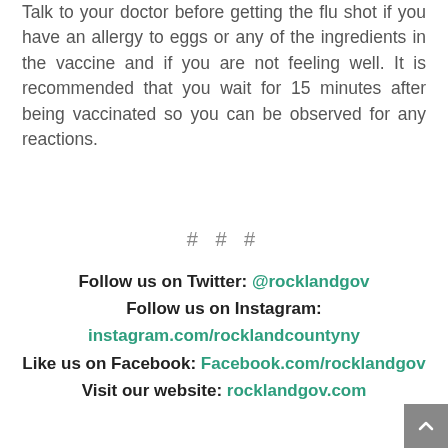Talk to your doctor before getting the flu shot if you have an allergy to eggs or any of the ingredients in the vaccine and if you are not feeling well. It is recommended that you wait for 15 minutes after being vaccinated so you can be observed for any reactions.
# # #
Follow us on Twitter: @rocklandgov
Follow us on Instagram:
instagram.com/rocklandcountyny
Like us on Facebook: Facebook.com/rocklandgov
Visit our website: rocklandgov.com